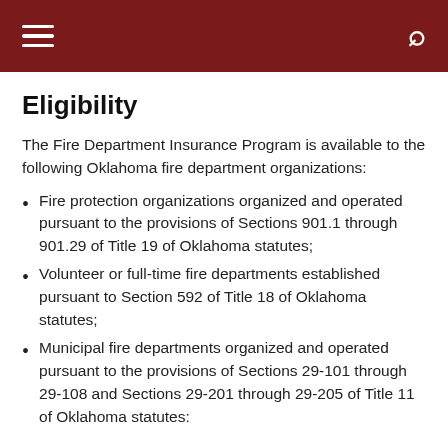Navigation header with hamburger menu and search icon
Eligibility
The Fire Department Insurance Program is available to the following Oklahoma fire department organizations:
Fire protection organizations organized and operated pursuant to the provisions of Sections 901.1 through 901.29 of Title 19 of Oklahoma statutes;
Volunteer or full-time fire departments established pursuant to Section 592 of Title 18 of Oklahoma statutes;
Municipal fire departments organized and operated pursuant to the provisions of Sections 29-101 through 29-108 and Sections 29-201 through 29-205 of Title 11 of Oklahoma statutes: